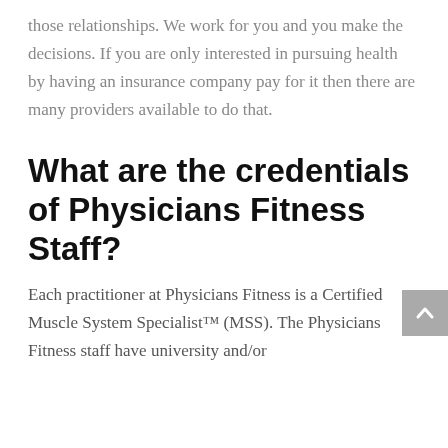those relationships. We work for you and you make the decisions. If you are only interested in pursuing health by having an insurance company pay for it then there are many providers available to do that.
What are the credentials of Physicians Fitness Staff?
Each practitioner at Physicians Fitness is a Certified Muscle System Specialist™ (MSS).  The Physicians Fitness staff have university and/or